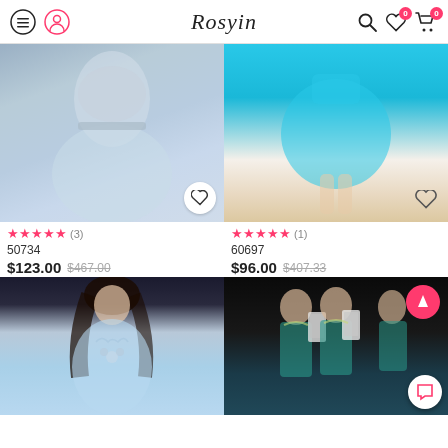Rosyin
[Figure (photo): Light blue sparkly short cocktail dress on model, gray background]
[Figure (photo): Cyan/turquoise short chiffon dress on model, white background]
★★★★★ (3)
★★★★★ (1)
50734
60697
$123.00 $467.00
$96.00 $407.33
[Figure (photo): Woman in light blue sweetheart strapless short dress with jeweled bodice]
[Figure (photo): Two models in teal beaded halter short dresses taking mirror selfie with phones, dark background, with chat and acuity badges]